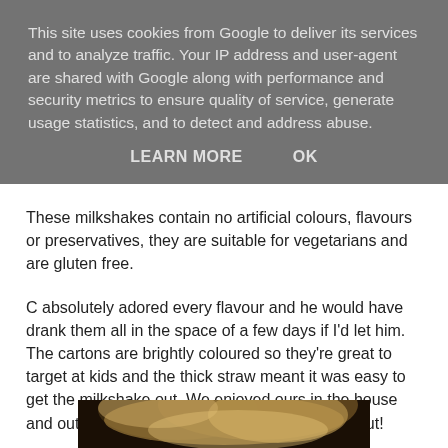This site uses cookies from Google to deliver its services and to analyze traffic. Your IP address and user-agent are shared with Google along with performance and security metrics to ensure quality of service, generate usage statistics, and to detect and address abuse.
LEARN MORE   OK
These milkshakes contain no artificial colours, flavours or preservatives, they are suitable for vegetarians and are gluten free.
C absolutely adored every flavour and he would have drank them all in the space of a few days if I'd let him. The cartons are brightly coloured so they're great to target at kids and the thick straw meant it was easy to get the milkshake out. We enjoyed ours in the house and out and about as they are easy to carry about!
[Figure (photo): Partial photo of a person with blonde/light hair, partially visible at bottom of page]